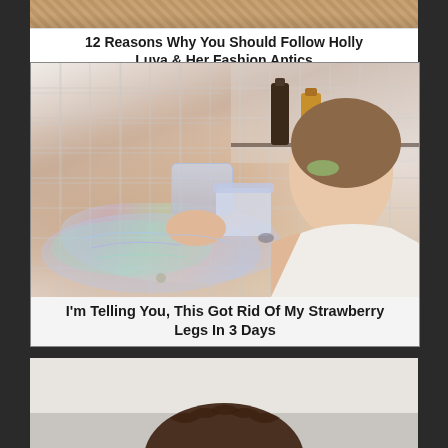[Figure (photo): Partial top of first article card showing a fashion-related photo cropped at top]
12 Reasons Why You Should Follow Holly Luya & Her Fashion Antics
[Figure (photo): Woman in bathtub applying iridescent glitter scrub product to her leg, holding a jar, white tile background, bottles visible on shelf]
I'm Telling You, This Got Rid Of My Strawberry Legs In 3 Days
[Figure (photo): Partial bottom of third article card showing top of person's head with braided hair]